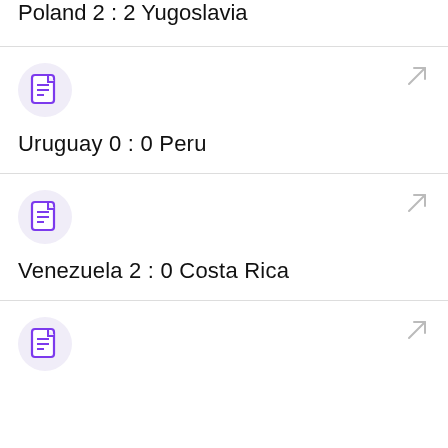Poland 2 : 2 Yugoslavia
[Figure (illustration): Document icon in purple on light purple circle background with arrow link icon]
Uruguay 0 : 0 Peru
[Figure (illustration): Document icon in purple on light purple circle background with arrow link icon]
Venezuela 2 : 0 Costa Rica
[Figure (illustration): Document icon in purple on light purple circle background with arrow link icon]